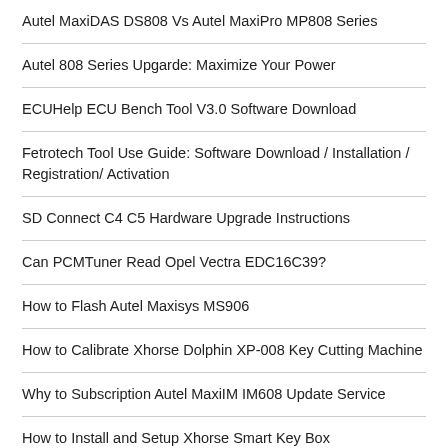Autel MaxiDAS DS808 Vs Autel MaxiPro MP808 Series
Autel 808 Series Upgarde: Maximize Your Power
ECUHelp ECU Bench Tool V3.0 Software Download
Fetrotech Tool Use Guide: Software Download / Installation / Registration/ Activation
SD Connect C4 C5 Hardware Upgrade Instructions
Can PCMTuner Read Opel Vectra EDC16C39?
How to Flash Autel Maxisys MS906
How to Calibrate Xhorse Dolphin XP-008 Key Cutting Machine
Why to Subscription Autel MaxiIM IM608 Update Service
How to Install and Setup Xhorse Smart Key Box
POPULAR POSTS:
BMW Ista-D Ista-P Windows 7/8/10 Download + How to install